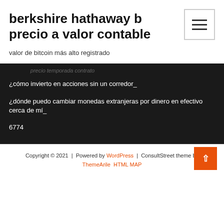berkshire hathaway b precio a valor contable
valor de bitcoin más alto registrado
¿cómo invierto en acciones sin un corredor_
¿dónde puedo cambiar monedas extranjeras por dinero en efectivo cerca de mí_
6774
Copyright © 2021 | Powered by WordPress | ConsultStreet theme by ThemeArile HTML MAP